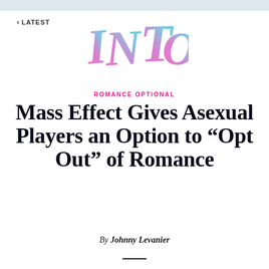< LATEST
[Figure (logo): INTO logo in gradient colors (pink to teal), stylized handwritten lettering]
ROMANCE OPTIONAL
Mass Effect Gives Asexual Players an Option to “Opt Out” of Romance
By Johnny Levanier